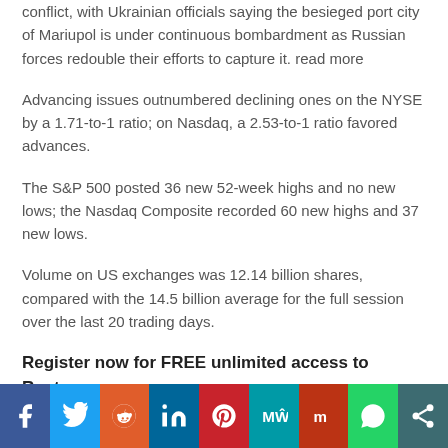conflict, with Ukrainian officials saying the besieged port city of Mariupol is under continuous bombardment as Russian forces redouble their efforts to capture it. read more
Advancing issues outnumbered declining ones on the NYSE by a 1.71-to-1 ratio; on Nasdaq, a 2.53-to-1 ratio favored advances.
The S&P 500 posted 36 new 52-week highs and no new lows; the Nasdaq Composite recorded 60 new highs and 37 new lows.
Volume on US exchanges was 12.14 billion shares, compared with the 14.5 billion average for the full session over the last 20 trading days.
Register now for FREE unlimited access to Reuters.com
[Figure (infographic): Social media sharing bar with icons for Facebook, Twitter, Reddit, LinkedIn, Pinterest, MeWe, Mix, WhatsApp, and Share]